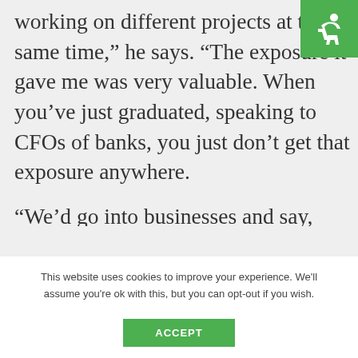[Figure (logo): Green square logo with white accessibility/person icon]
working on different projects at the same time,” he says. “The exposure it gave me was very valuable. When you’ve just graduated, speaking to CFOs of banks, you just don’t get that exposure anywhere.
“We’d go into businesses and say, OK, you’ve got this control in place or
This website uses cookies to improve your experience. We'll assume you're ok with this, but you can opt-out if you wish.
ACCEPT